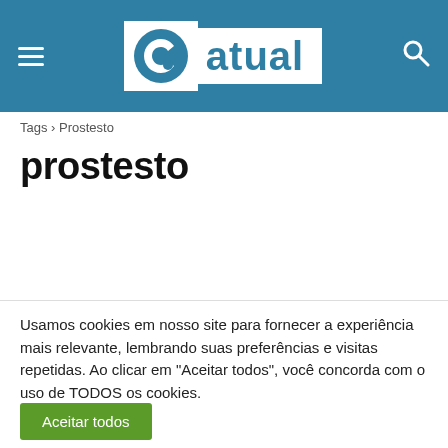[Figure (logo): Atual news website logo with hamburger menu and search icon on teal header bar]
Tags › Prostesto
prostesto
Usamos cookies em nosso site para fornecer a experiência mais relevante, lembrando suas preferências e visitas repetidas. Ao clicar em "Aceitar todos", você concorda com o uso de TODOS os cookies.
Aceitar todos